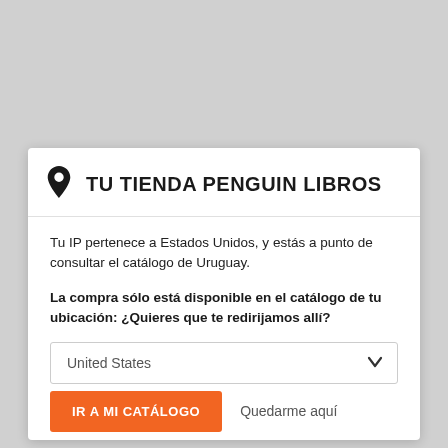TU TIENDA PENGUIN LIBROS
Tu IP pertenece a Estados Unidos, y estás a punto de consultar el catálogo de Uruguay.
La compra sólo está disponible en el catálogo de tu ubicación: ¿Quieres que te redirijamos allí?
United States
IR A MI CATÁLOGO
Quedarme aquí